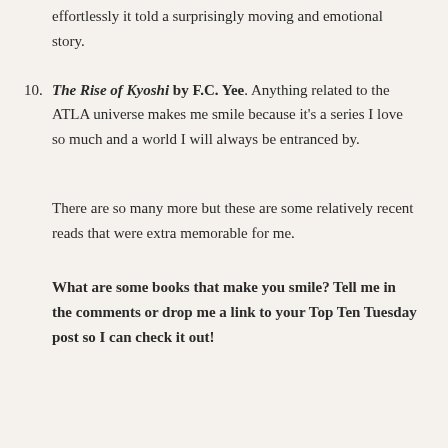effortlessly it told a surprisingly moving and emotional story.
10. The Rise of Kyoshi by F.C. Yee. Anything related to the ATLA universe makes me smile because it's a series I love so much and a world I will always be entranced by.
There are so many more but these are some relatively recent reads that were extra memorable for me.
What are some books that make you smile? Tell me in the comments or drop me a link to your Top Ten Tuesday post so I can check it out!